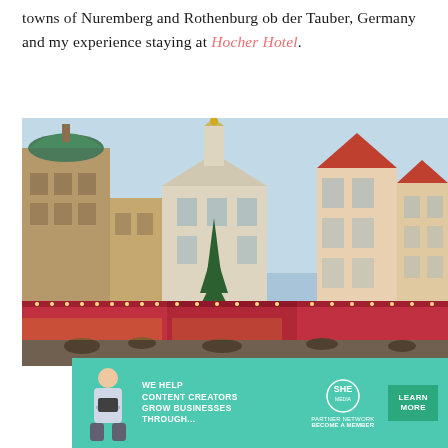...Beyond that, exploring the Christmas markets in the towns of Nuremberg and Rothenburg ob der Tauber, Germany and my experience staying at Hocher Hotel.
[Figure (photo): Outdoor Christmas market scene with historic German town buildings including a tall tower with green dome on the left, a pale building with triangular gable in the center with a gold-topped steeple behind it, and colorful half-timbered buildings on the right. Red-roofed market stalls and holiday lights visible in the foreground, blue sky above.]
[Figure (infographic): Advertisement banner: green/teal background with a figure of a woman holding a tablet on the left, text reading 'WE HELP CONTENT CREATORS GROW BUSINESSES THROUGH...' in white bold text, SHE Media Partner Network logo in center, and a 'LEARN MORE' button on the right.]